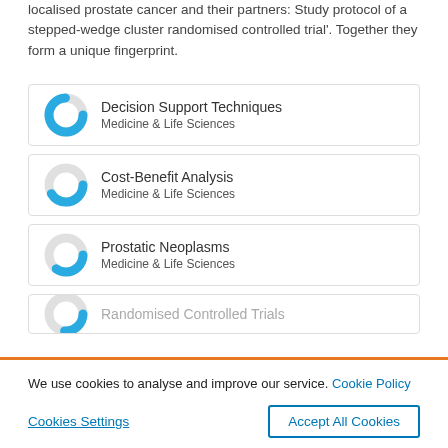localised prostate cancer and their partners: Study protocol of a stepped-wedge cluster randomised controlled trial'. Together they form a unique fingerprint.
[Figure (donut-chart): Decision Support Techniques donut chart, nearly full blue (100%), Medicine & Life Sciences]
[Figure (donut-chart): Cost-Benefit Analysis donut chart, approximately 67% blue, Medicine & Life Sciences]
[Figure (donut-chart): Prostatic Neoplasms donut chart, approximately 60% blue, Medicine & Life Sciences]
[Figure (donut-chart): Partial card at bottom, Randomised Controlled Trials, partially visible]
We use cookies to analyse and improve our service. Cookie Policy
Cookies Settings    Accept All Cookies